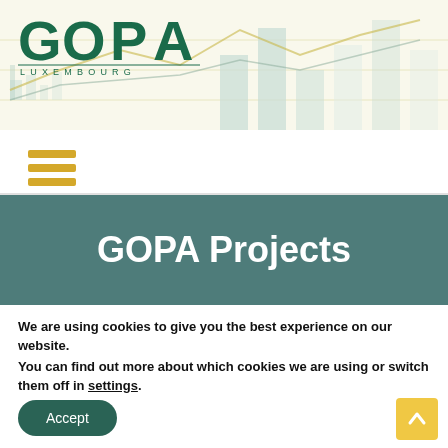[Figure (logo): GOPA Luxembourg logo with teal/green text and spaced letters for LUXEMBOURG subtitle, overlaid on a light chart background with bar and line graph watermarks]
[Figure (illustration): Hamburger menu icon with three horizontal yellow/gold lines]
GOPA Projects
We are using cookies to give you the best experience on our website.
You can find out more about which cookies we are using or switch them off in settings.
Accept